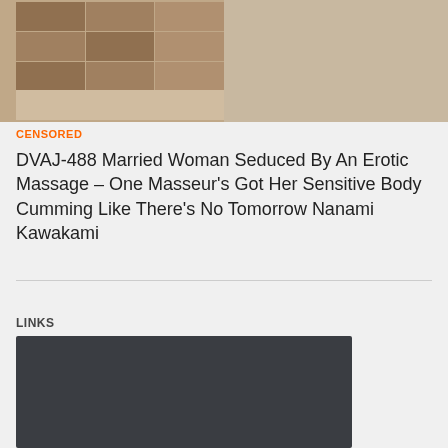[Figure (photo): DVD cover image for DVAJ-488, showing collage of scenes on the left and a woman on a bed on the right]
CENSORED
DVAJ-488 Married Woman Seduced By An Erotic Massage – One Masseur’s Got Her Sensitive Body Cumming Like There’s No Tomorrow Nanami Kawakami
LINKS
[Figure (screenshot): Dark rectangular area representing a video player or embedded link block]